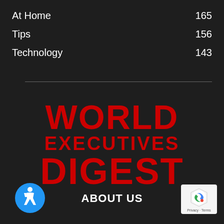At Home    165
Tips    156
Technology    143
[Figure (logo): World Executives Digest logo in red bold text on dark background]
ABOUT US
[Figure (illustration): Accessibility icon: blue circle with white wheelchair user symbol]
[Figure (logo): Google reCAPTCHA badge with Privacy and Terms links]